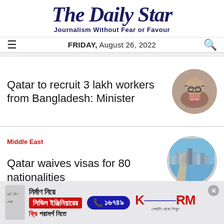The Daily Star
Journalism Without Fear or Favour
FRIDAY, August 26, 2022
Qatar to recruit 3 lakh workers from Bangladesh: Minister
Middle East
Qatar waives visas for 80 nationalities
[Figure (illustration): Advertisement for KSRM civil engineering consultation service with Bengali text and phone number 16749]